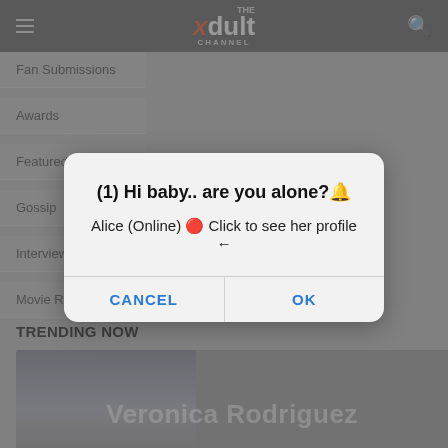THE xdult CHANNEL
Fan Submissions
Awards
Featured
Gossip
Interviews
Movie Reviews
[Figure (screenshot): Browser dialog popup with message '(1) Hi baby.. are you alone?🔔' and 'Alice (Online) 🔴 Click to see her profile ←' with CANCEL and OK buttons]
TRENDING NOW
[Figure (photo): Thumbnail image of Veronica Rodriguez with text overlay]